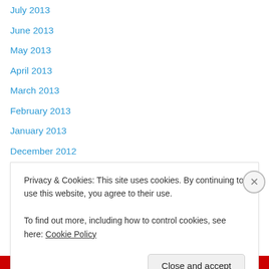July 2013
June 2013
May 2013
April 2013
March 2013
February 2013
January 2013
December 2012
November 2012
Follow Blog via Email
Enter your email address to follow this blog and receive notifications of
Privacy & Cookies: This site uses cookies. By continuing to use this website, you agree to their use.
To find out more, including how to control cookies, see here: Cookie Policy